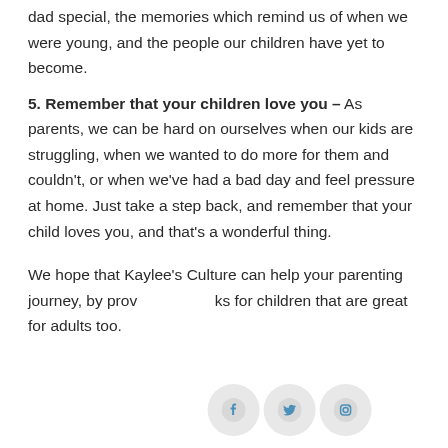dad special, the memories which remind us of when we were young, and the people our children have yet to become.
5. Remember that your children love you – As parents, we can be hard on ourselves when our kids are struggling, when we wanted to do more for them and couldn't, or when we've had a bad day and feel pressure at home. Just take a step back, and remember that your child loves you, and that's a wonderful thing.
We hope that Kaylee's Culture can help your parenting journey, by providing books for children that are great for adults too.